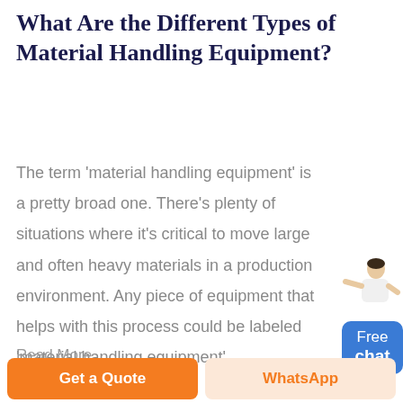What Are the Different Types of Material Handling Equipment?
The term 'material handling equipment' is a pretty broad one. There's plenty of situations where it's critical to move large and often heavy materials in a production environment. Any piece of equipment that helps with this process could be labeled 'material handling equipment'.
Read More...
[Figure (illustration): Customer service representative figure above a blue 'Free chat' button widget in top-right corner]
Get a Quote
WhatsApp